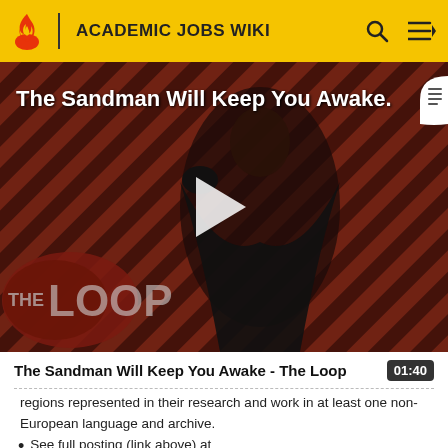ACADEMIC JOBS WIKI
[Figure (screenshot): Video thumbnail: The Sandman Will Keep You Awake - The Loop, showing a dark-cloaked figure against a diagonal stripe background with THE LOOP logo overlay and a play button]
The Sandman Will Keep You Awake - The Loop  01:40
regions represented in their research and work in at least one non-European language and archive.
See full posting (link above) at